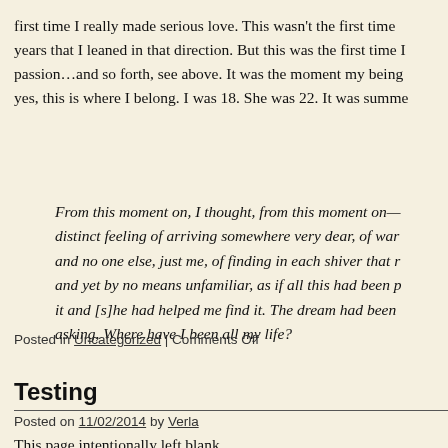first time I really made serious love. This wasn't the first time years that I leaned in that direction. But this was the first time I passion…and so forth, see above. It was the moment my being yes, this is where I belong. I was 18. She was 22. It was summe
From this moment on, I thought, from this moment on— distinct feeling of arriving somewhere very dear, of war and no one else, just me, of finding in each shiver that r and yet by no means unfamiliar, as if all this had been p it and [s]he had helped me find it. The dream had been asking, Where have I been all my life?
Posted in Uncategorized | Comments Off
Testing
Posted on 11/02/2014 by Verla
This page intentionally left blank.